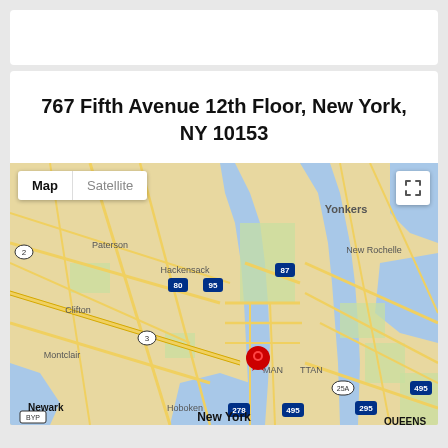767 Fifth Avenue 12th Floor, New York, NY 10153
[Figure (map): Google Map showing location pin at 767 Fifth Avenue, Manhattan, NY 10153. Map shows the greater New York metropolitan area including Manhattan, New Jersey, Yonkers, New Rochelle, Queens, Hoboken, Newark, Hackensack, Paterson, Clifton, Montclair areas. Major highways labeled: 80, 95, 87, 3, 278, 495, 295, 25A. The location pin (red teardrop marker) is placed in midtown Manhattan labeled MANHATTAN.]